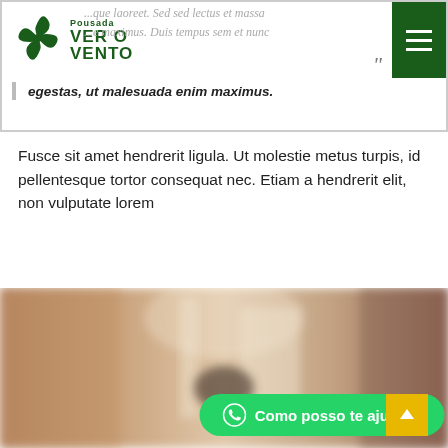Pousada Ver o Vento
...esque laoreet. Sed sed lectus et massa ...e maximus. Duis tempus sem et nunc egestas, ut malesuada enim maximus.
Fusce sit amet hendrerit ligula. Ut molestie metus turpis, id pellentesque tortor consequat nec. Etiam a hendrerit elit, non vulputate lorem
[Figure (photo): Blurred interior room photo of a hotel/pousada]
Como posso te ajudar?